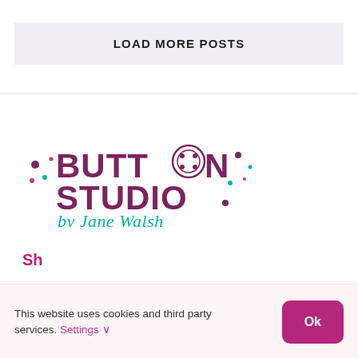LOAD MORE POSTS
[Figure (logo): Button Studio by Jane Walsh logo — purple bold text 'BUTTON STUDIO' with a button icon replacing the 'O' in BUTTON, decorative teal and purple dots, and teal cursive script 'by Jane Walsh' below]
This website uses cookies and third party services. Settings